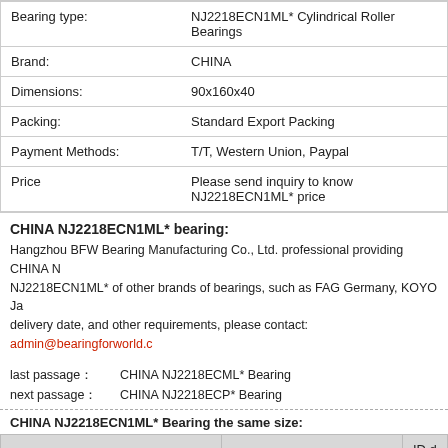|  |  |
| --- | --- |
| Bearing type: | NJ2218ECN1ML* Cylindrical Roller Bearings |
| Brand: | CHINA |
| Dimensions: | 90x160x40 |
| Packing: | Standard Export Packing |
| Payment Methods: | T/T, Western Union, Paypal |
| Price | Please send inquiry to know NJ2218ECN1ML* price |
CHINA NJ2218ECN1ML* bearing:
Hangzhou BFW Bearing Manufacturing Co., Ltd. professional providing CHINA NJ2218ECN1ML* of other brands of bearings, such as FAG Germany, KOYO Japan, delivery date, and other requirements, please contact: admin@bearingforworld.c
last passage：  CHINA NJ2218ECML* Bearing
next passage：  CHINA NJ2218ECP* Bearing
CHINA NJ2218ECN1ML* Bearing the same size:
| Link | Bearing model | ID d ( |
| --- | --- | --- |
| SNR 32218 | 32218 | 90 |
| KOYO NU2218 | NU2218 | 90 |